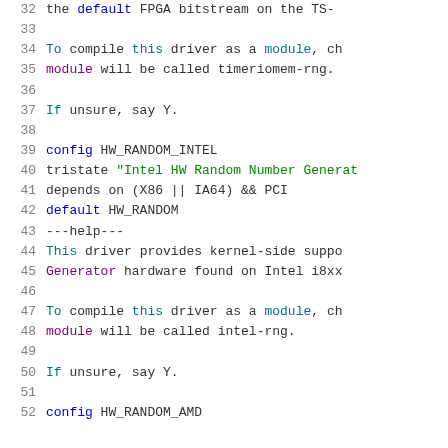Source code listing lines 32-52 of a Linux kernel Kconfig file for hardware random number generators (HW_RANDOM_INTEL, HW_RANDOM_AMD)